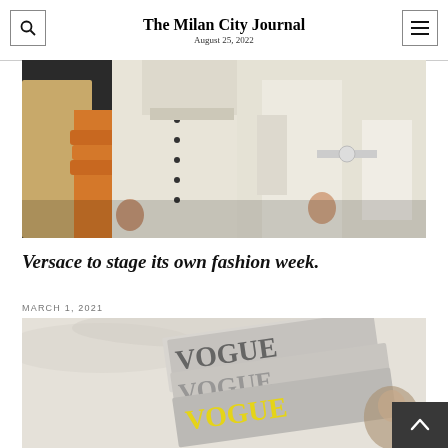The Milan City Journal
August 25, 2022
[Figure (photo): Fashion photo showing models from waist down wearing white clothing — white skirts, a white button-up shirt/jacket, white trousers — with one model wearing an orange/amber ruffled garment. Dark studio background.]
Versace to stage its own fashion week.
MARCH 1, 2021
[Figure (photo): Close-up photo of stacked Vogue magazine books/coffee table books showing the VOGUE text repeated in large serif letters, with a black-and-white portrait visible and yellow VOGUE text on the bottom cover. Set against a white fabric background.]